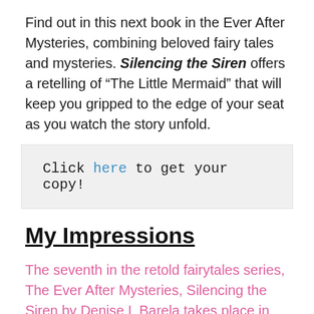Find out in this next book in the Ever After Mysteries, combining beloved fairy tales and mysteries. Silencing the Siren offers a retelling of “The Little Mermaid” that will keep you gripped to the edge of your seat as you watch the story unfold.
Click here to get your copy!
My Impressions
The seventh in the retold fairytales series, The Ever After Mysteries, Silencing the Siren by Denise L Barela takes place in 1920s New York City and Coney Island. Andrew